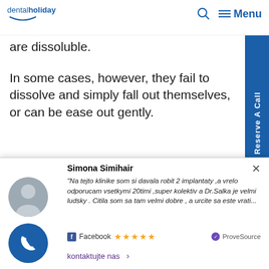dentalholiday | Menu
are dissoluble.
In some cases, however, they fail to dissolve and simply fall out themselves, or can be eased out gently.
If after 7-10 days of dental implantation the stitches are irritating you, have a local nurse remove them or visit any one of our clinics free check-up and stitches removal.
Simona Simihair
"Na tejto klinike som si davala robit 2 implantaty ,a vrelo odporucam vsetkymi 20timi ,super kolektiv a Dr.Salka je velmi ludsky . Citila som sa tam velmi dobre , a urcite sa este vrati..."
Facebook ★★★★★    ProveSource
kontaktujte nas >